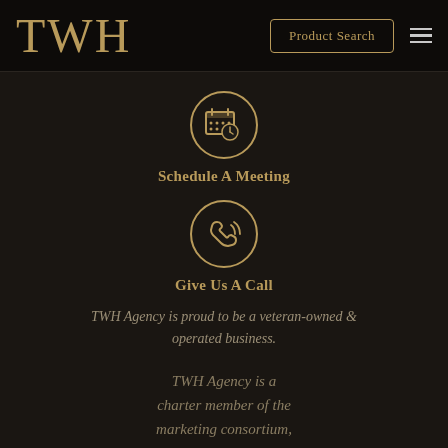TWH | Product Search
[Figure (illustration): Calendar with clock icon inside a gold circle border]
Schedule A Meeting
[Figure (illustration): Phone with signal waves icon inside a gold circle border]
Give Us A Call
TWH Agency is proud to be a veteran-owned & operated business.
TWH Agency is a charter member of the marketing consortium, THE MV GROUP.